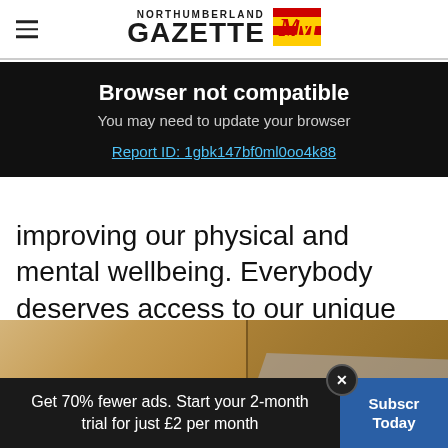NORTHUMBERLAND GAZETTE
Browser not compatible
You may need to update your browser
Report ID: 1gbk147bf0ml0oo4k88
improving our physical and mental wellbeing. Everybody deserves access to our unique landscapes and nature.
[Figure (photo): Cardboard boxes with parcels and papers/documents]
Get 70% fewer ads. Start your 2-month trial for just £2 per month